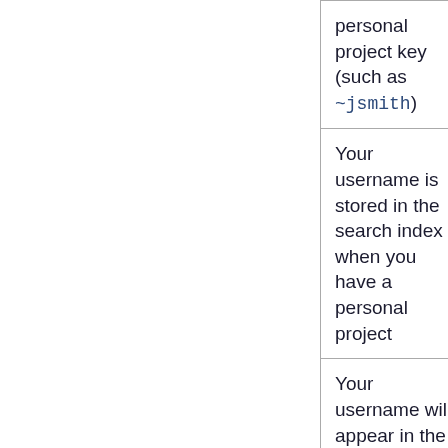| When this data is used | Where this data is stored |
| --- | --- |
| personal project key (such as ~jsmith) | projects stored in the database |
| Your username is stored in the search index when you have a personal project | The search index is stored on the file system |
| Your username will appear in the audit log when you make administrative changes to Unable to | Audit log is stored in the database and on the file system |